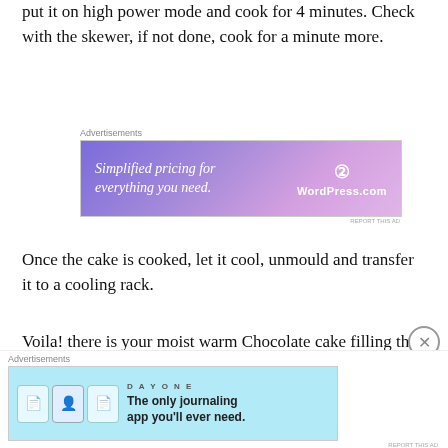put it on high power mode and cook for 4 minutes. Check with the skewer, if not done, cook for a minute more.
[Figure (other): WordPress.com advertisement banner with purple gradient background. Text: 'Simplified pricing for everything you need.' and WordPress.com logo.]
Once the cake is cooked, let it cool, unmould and transfer it to a cooling rack.
Voila! there is your moist warm Chocolate cake filling the air around with a great aroma!
You can either dust some fine sugar on the cake or
[Figure (other): Day One journaling app advertisement banner with light blue background. Text: 'The only journaling app you'll ever need.' with Day One logo and icons.]